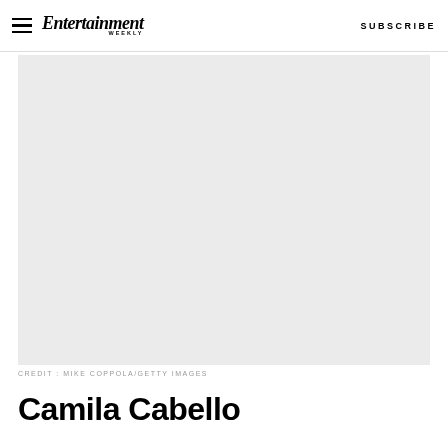Entertainment Weekly — SUBSCRIBE
[Figure (photo): Large photo placeholder — light gray rectangle, appears to be a portrait photo of Camila Cabello]
CREDIT: MIKE COPPOLA/GETTY IMAGES
Camila Cabello